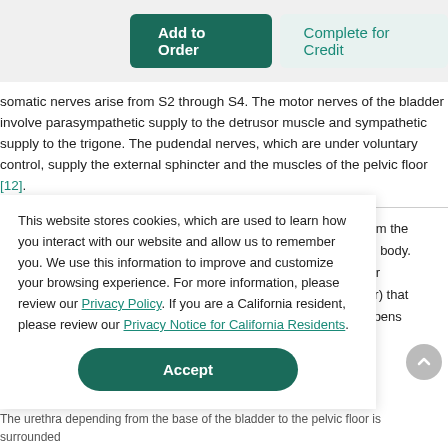[Figure (screenshot): Two buttons: 'Add to Order' (dark teal, filled) and 'Complete for Credit' (light teal, outlined background)]
somatic nerves arise from S2 through S4. The motor nerves of the bladder involve parasympathetic supply to the detrusor muscle and sympathetic supply to the trigone. The pudendal nerves, which are under voluntary control, supply the external sphincter and the muscles of the pelvic floor [12].
This website stores cookies, which are used to learn how you interact with our website and allow us to remember you. We use this information to improve and customize your browsing experience. For more information, please review our Privacy Policy. If you are a California resident, please review our Privacy Notice for California Residents.
its from the of the body. ladder lincter) that der opens
The urethra depending from the base of the bladder to the pelvic floor is surrounded